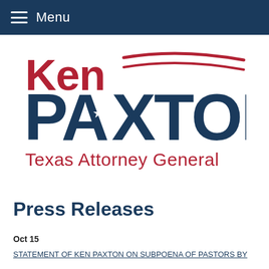Menu
[Figure (logo): Ken Paxton Texas Attorney General logo with red swoosh lines and star in the letter A]
Press Releases
Oct 15
STATEMENT OF KEN PAXTON ON SUBPOENA OF PASTORS BY